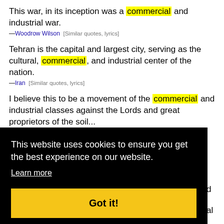This war, in its inception was a commercial and industrial war. —Woodrow Wilson [Similar quotes, lyrics]
Tehran is the capital and largest city, serving as the cultural, commercial, and industrial center of the nation. —Iran [Similar quotes, lyrics]
I believe this to be a movement of the commercial and industrial classes against the Lords and great proprietors of the soil... —John Bright [Similar quotes, lyrics]
This website uses cookies to ensure you get the best experience on our website. Learn more
Got it!